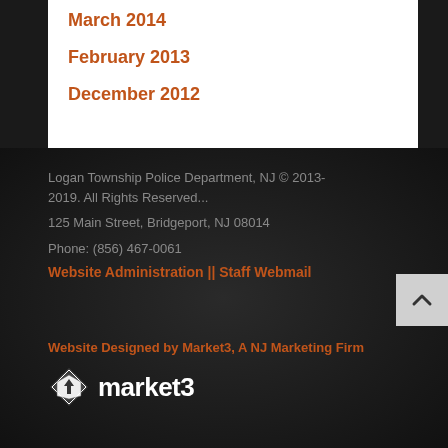March 2014
February 2013
December 2012
Logan Township Police Department, NJ © 2013-2019. All Rights Reserved...
125 Main Street, Bridgeport, NJ 08014
Phone: (856) 467-0061
Website Administration || Staff Webmail
Website Designed by Market3, A NJ Marketing Firm
[Figure (logo): market3 logo with stylized pencil/diamond icon in black and white followed by the text 'market3' in white]